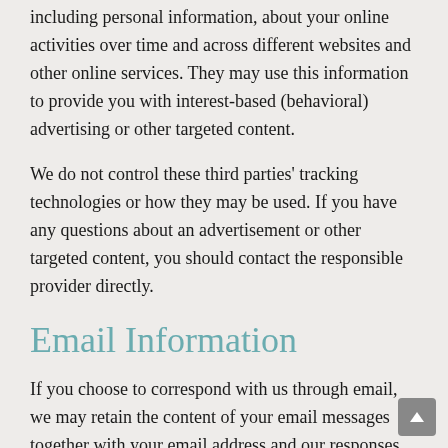including personal information, about your online activities over time and across different websites and other online services. They may use this information to provide you with interest-based (behavioral) advertising or other targeted content.
We do not control these third parties' tracking technologies or how they may be used. If you have any questions about an advertisement or other targeted content, you should contact the responsible provider directly.
Email Information
If you choose to correspond with us through email, we may retain the content of your email messages together with your email address and our responses. We